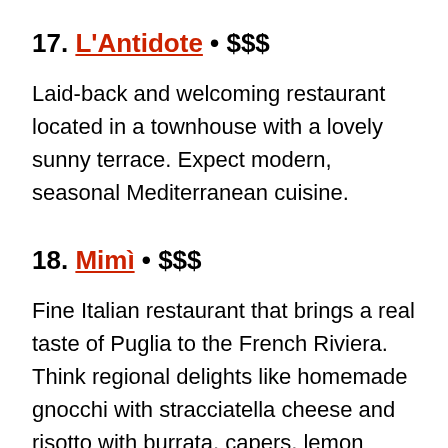17. L'Antidote • $$$
Laid-back and welcoming restaurant located in a townhouse with a lovely sunny terrace. Expect modern, seasonal Mediterranean cuisine.
18. Mimì • $$$
Fine Italian restaurant that brings a real taste of Puglia to the French Riviera. Think regional delights like homemade gnocchi with stracciatella cheese and risotto with burrata, capers, lemon juice, and prawn carpaccio.